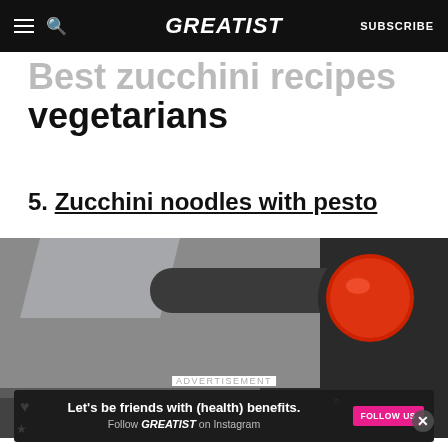GREATIST | SUBSCRIBE
vegetarians
5. Zucchini noodles with pesto
[Figure (photo): Close-up photo of a spiralizer/vegetable noodle maker with red button, grey plastic body, and zucchini noodles visible at the bottom of the frame]
ADVERTISEMENT
Let's be friends with (health) benefits. Follow GREATIST on Instagram | FOLLOW US